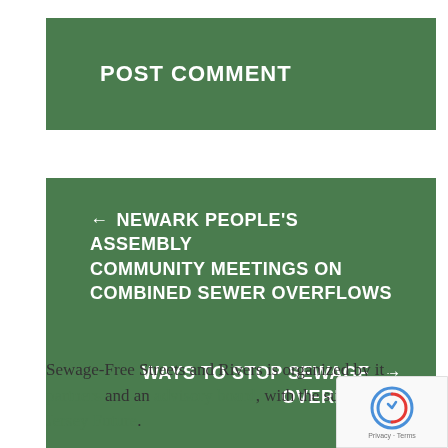POST COMMENT
← NEWARK PEOPLE'S ASSEMBLY COMMUNITY MEETINGS ON COMBINED SEWER OVERFLOWS
WAYS TO STOP SEWAGE OVERFLOWS →
Sewage-Free Streets and Rivers is organized by its partners and an advisory board, with the support of Jersey Future.